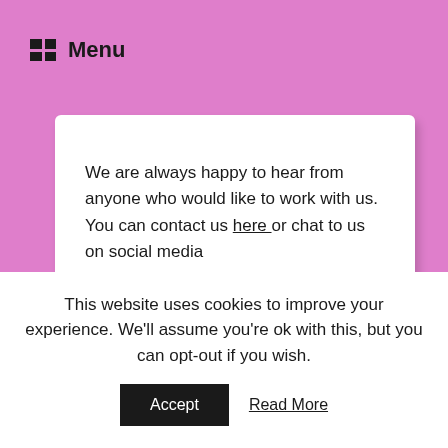Menu
We are always happy to hear from anyone who would like to work with us. You can contact us here or chat to us on social media
Legal information
Visit our Privacy Policy for information on Privacy & GDPR.
This website uses cookies to improve your experience. We'll assume you're ok with this, but you can opt-out if you wish.